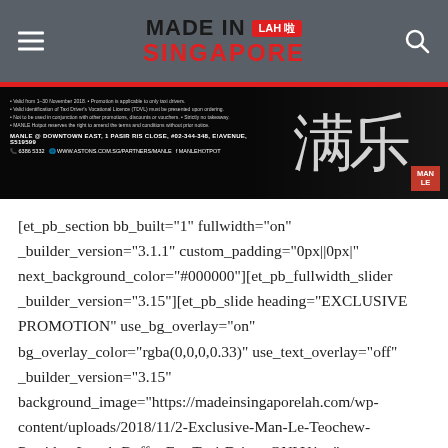MADE IN SINGAPORE LAH 啦
[Figure (photo): Man Le Hotpot promotional banner showing restaurant address at Downtown East, 1 Pasir Ris Close, #02-344-348, E!Avenue, S519599, phone 6386 5332, website www.astons.com.sg/partners/manle, Facebook MANLEHOTPOT]
[et_pb_section bb_built="1" fullwidth="on" _builder_version="3.1.1" custom_padding="0px||0px|" next_background_color="#000000"][et_pb_fullwidth_slider _builder_version="3.15"][et_pb_slide heading="EXCLUSIVE PROMOTION" use_bg_overlay="on" bg_overlay_color="rgba(0,0,0,0.33)" use_text_overlay="off" _builder_version="3.15" background_image="https://madeinsingaporelah.com/wp-content/uploads/2018/11/2-Exclusive-Man-Le-Teochew-Porridge-Lunch-Buffet-For-Taxi-Driver-ONLY.jpg" button_on_hover="on" button_link="#"